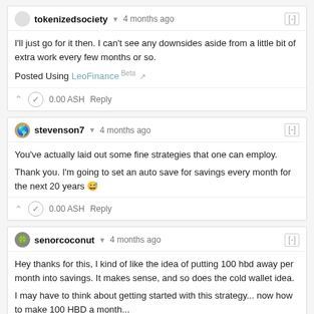tokenizedsociety • 4 months ago [-]
I'll just go for it then. I can't see any downsides aside from a little bit of extra work every few months or so.

Posted Using LeoFinance Beta
0.00 ASH    Reply
stevenson7 • 4 months ago [-]
You've actually laid out some fine strategies that one can employ.

Thank you. I'm going to set an auto save for savings every month for the next 20 years 😅
0.00 ASH    Reply
senorcoconut • 4 months ago [-]
Hey thanks for this, I kind of like the idea of putting 100 hbd away per month into savings. It makes sense, and so does the cold wallet idea.

I may have to think about getting started with this strategy... now how to make 100 HBD a month...
0.00 ASH    Reply